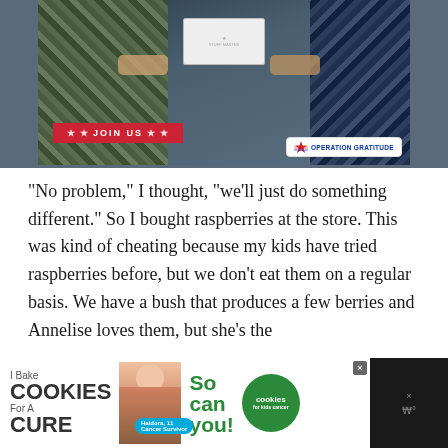[Figure (photo): Photo of military personnel in camouflage uniforms holding a box, with Operation Gratitude logo and JOIN US banner overlay]
“No problem,” I thought, “we’ll just do something different.” So I bought raspberries at the store. This was kind of cheating because my kids have tried raspberries before, but we don’t eat them on a regular basis. We have a bush that produces a few berries and Annelise loves them, but she’s the
[Figure (photo): Advertisement banner: I Bake Cookies For A Cure - So can you! cookies for kids cancer, featuring Haidora, 11 Cancer Survivor]